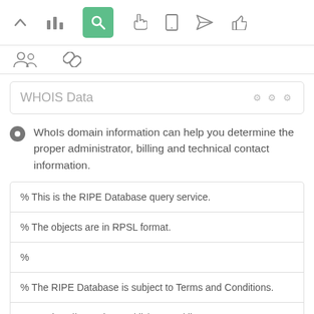[Figure (screenshot): Top navigation toolbar with icons: up arrow, bar chart, magnifying glass (active, green background), hand/pointer, mobile phone, paper airplane, thumbs up]
[Figure (screenshot): Second toolbar row with two icons: group of people, chain link]
WHOIS Data
WhoIs domain information can help you determine the proper administrator, billing and technical contact information.
| % This is the RIPE Database query service. |
| % The objects are in RPSL format. |
| % |
| % The RIPE Database is subject to Terms and Conditions. |
| % See http://www.ripe.net/db/support/db-terms- |